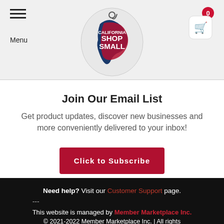Menu | California Shop Small logo | Cart (0)
Join Our Email List
Get product updates, discover new businesses and more conveniently delivered to your inbox!
[Figure (other): Red button labeled 'Click to Subscribe']
Need help? Visit our Customer Support page. --- This website is managed by Member Marketplace Inc. © 2021-2022 Member Marketplace Inc. | All rights